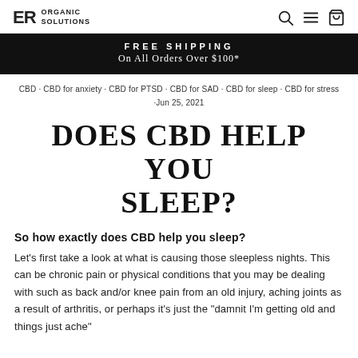ER ORGANIC SOLUTIONS
FREE SHIPPING
On All Orders Over $100*
CBD · CBD for anxiety · CBD for PTSD · CBD for SAD · CBD for sleep · CBD for stress ·Jun 25, 2021
DOES CBD HELP YOU SLEEP?
So how exactly does CBD help you sleep?
Let's first take a look at what is causing those sleepless nights. This can be chronic pain or physical conditions that you may be dealing with such as back and/or knee pain from an old injury, aching joints as a result of arthritis, or perhaps it's just the "damnit I'm getting old and things just ache"